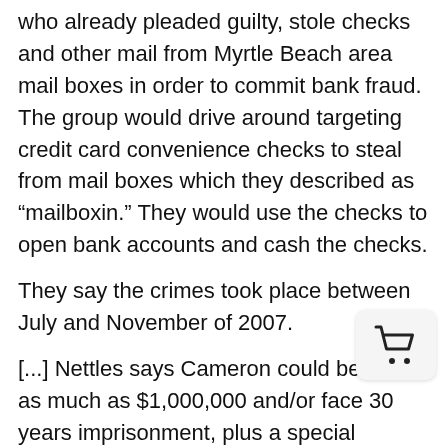who already pleaded guilty, stole checks and other mail from Myrtle Beach area mail boxes in order to commit bank fraud. The group would drive around targeting credit card convenience checks to steal from mail boxes which they described as “mailboxin.” They would use the checks to open bank accounts and cash the checks.
They say the crimes took place between July and November of 2007.
[...] Nettles says Cameron could be fined as much as $1,000,000 and/or face 30 years imprisonment, plus a special assessment of $100.”
COMMENTS: “Mailboxing” (also known as ma[il] identity theft) is on the rise across the nati[on] residents need to take precautions to prote[ct] the[mselves. The best defense against identity...]